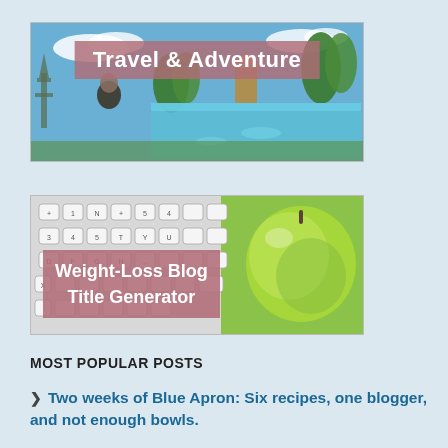[Figure (photo): Travel & Adventure banner image showing Eiffel Tower on left and tropical pool resort on right with a text overlay reading 'Travel & Adventure']
[Figure (photo): Weight-Loss Blog Title Generator banner image showing a keyboard on left and a green apple on right with a mauve text overlay reading 'Weight-Loss Blog Title Generator']
MOST POPULAR POSTS
Two weeks of Blue Apron: Six recipes, one blogger, and not enough bowls.